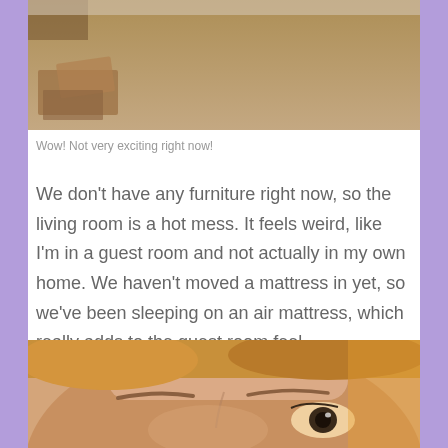[Figure (photo): Photo of an empty room with bare carpet and some cardboard boxes or debris on the floor]
Wow! Not very exciting right now!
We don't have any furniture right now, so the living room is a hot mess. It feels weird, like I'm in a guest room and not actually in my own home. We haven't moved a mattress in yet, so we've been sleeping on an air mattress, which really adds to the guest room feel.
[Figure (photo): Close-up photo of a person's face with short blond/strawberry hair, showing forehead, eyebrows, and one eye visible]